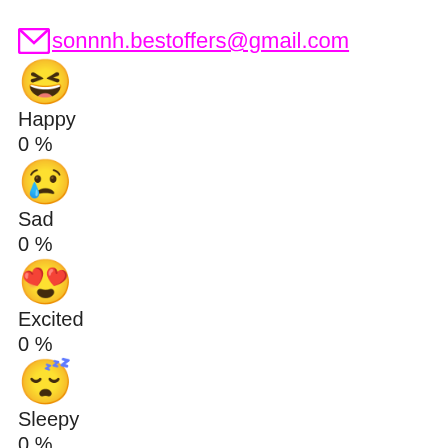✉ sonnnh.bestoffers@gmail.com
[Figure (illustration): Happy face emoji - laughing with open mouth]
Happy
0 %
[Figure (illustration): Sad face emoji - crying with tear]
Sad
0 %
[Figure (illustration): Excited face emoji - heart eyes]
Excited
0 %
[Figure (illustration): Sleepy face emoji - sleeping with zzz]
Sleepy
0 %